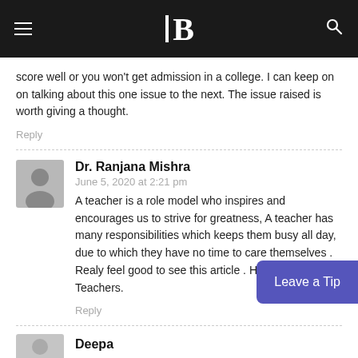B (logo)
score well or you won't get admission in a college. I can keep on on talking about this one issue to the next. The issue raised is worth giving a thought.
Reply
Dr. Ranjana Mishra
June 5, 2020 at 2:21 pm
A teacher is a role model who inspires and encourages us to strive for greatness, A teacher has many responsibilities which keeps them busy all day, due to which they have no time to care themselves . Realy feel good to see this article . Hats [off to] Teachers.
Reply
Deepa